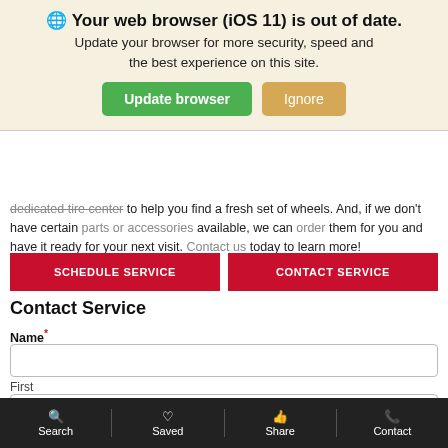🌐 Your web browser (iOS 11) is out of date. Update your browser for more security, speed and the best experience on this site.
Update browser | Ignore
dedicated tire center to help you find a fresh set of wheels. And, if we don't have certain parts or accessories available, we can order them for you and have it ready for your next visit. Contact us today to learn more!
SCHEDULE SERVICE | CONTACT SERVICE
Contact Service
Name*
First
Last
Email*
Search | Saved | Share | Contact